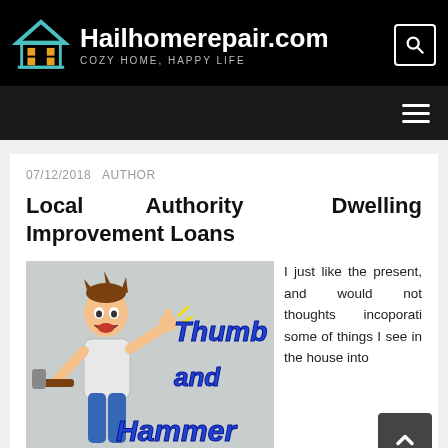Hailhomerepair.com — COZY HOME, HAPPY LIFE
07/12/2018   AUTHOR
Local Authority Dwelling Improvement Loans
[Figure (illustration): Cartoon illustration of a man hitting his thumb with a hammer, with text 'Thumb and Hammer' overlaid in blue bold font]
I just like the present, and would not thoughts incoporati some of things I see in the house into